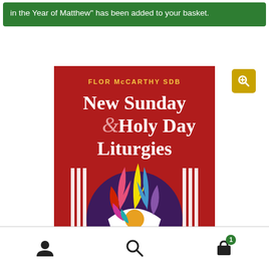in the Year of Matthew" has been added to your basket.
[Figure (photo): Book cover of 'New Sunday & Holy Day Liturgies' by Flor McCarthy SDB. Red background with decorative flame/leaf motifs in pink, yellow, blue, red, and purple colors above a dark purple circle containing a white chalice shape with a gold circle.]
[Figure (other): Bottom navigation bar with user profile icon, search icon, and shopping cart icon with badge showing 1 item]